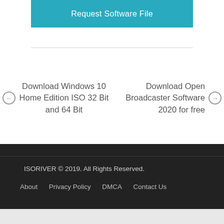Request Software File
Download Windows 10 Home Edition ISO 32 Bit and 64 Bit
Download Open Broadcaster Software 2020 for free
ISORIVER © 2019. All Rights Reserved.
About   Privacy Policy   DMCA   Contact Us